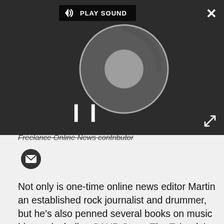[Figure (screenshot): Dark-themed audio media player overlay with 'PLAY SOUND' label, spinning loading circle, pause button, close (X) button top-right, and expand icon bottom-right]
Freelance Online News Contributor
[Figure (illustration): Black circular email/envelope icon button]
Not only is one-time online news editor Martin an established rock journalist and drummer, but he's also penned several books on music history, including SAHB Story: The Tale of the Sensational Alex Harvey Band, a band he once managed, and the best-selling Apollo Memories about the history of the legendary and infamous Glasgow Apollo. Martin has written for Classic Rock and